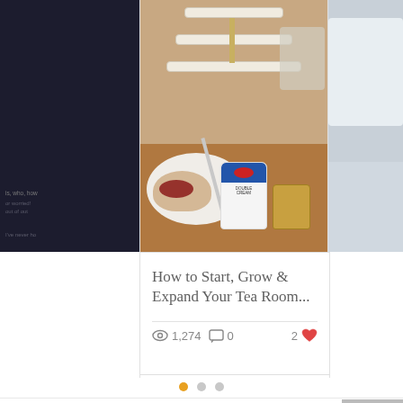[Figure (photo): Partial view of a tea room scene: left panel shows dark background with small text snippets, center shows scones with jam and clotted cream on a plate, a jar of double cream, and a tea stand, right panel shows a partially visible photo with light colors.]
How to Start, Grow & Expand Your Tea Room...
1,274 views · 0 comments · 2 likes
[Figure (infographic): Pagination dots: one filled amber/gold dot and two grey dots indicating carousel position]
Join Tina's tea time community today!
[Figure (other): Grey back-to-top button with upward arrow chevron]
Name
Email Address
[Figure (other): Blue circular floating action button with three dots (ellipsis)]